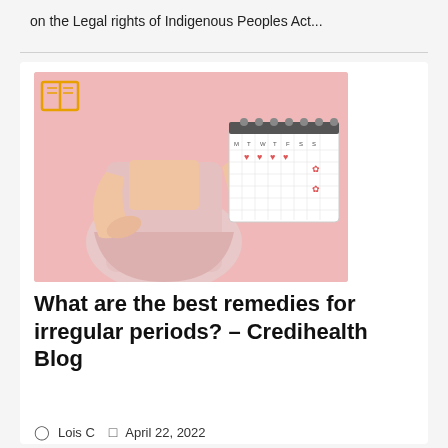on the Legal rights of Indigenous Peoples Act...
[Figure (photo): Woman in pink dress holding a menstrual cycle calendar tracker against a pink background, with a book/open-book icon overlay in the top-left corner]
What are the best remedies for irregular periods? – Credihealth Blog
Lois C   April 22, 2022
GENERAL
A recent study is proof of...